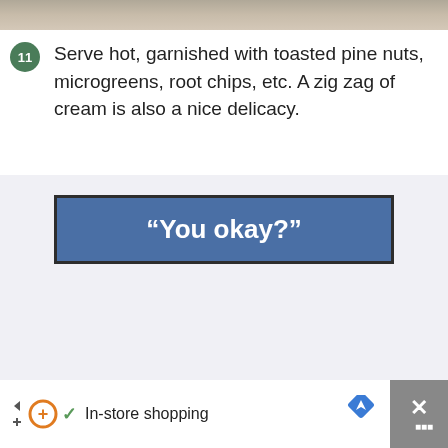[Figure (photo): Partial photo of food dish at top of page, cropped]
11 Serve hot, garnished with toasted pine nuts, microgreens, root chips, etc. A zig zag of cream is also a nice delicacy.
[Figure (screenshot): Blue button banner reading “You okay?” on a light grey background]
[Figure (screenshot): Mobile advertisement bar at bottom: arrow icons, orange D+ logo, checkmark, In-store shopping text, blue navigation diamond icon, and grey close X button]